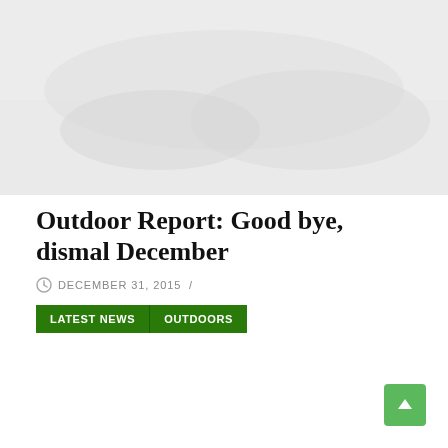[Figure (photo): Outdoor/nature photo area at top of article page, appears faded/light]
Outdoor Report: Good bye, dismal December
DECEMBER 31, 2015 /
LATEST NEWS   OUTDOORS